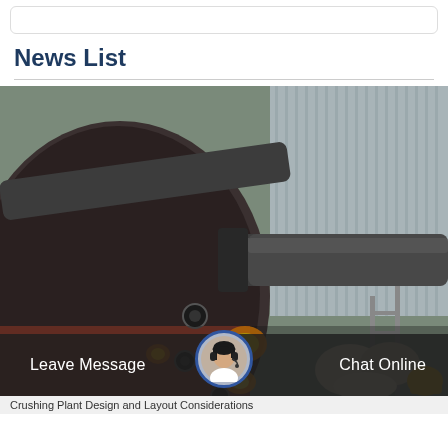News List
[Figure (photo): Industrial machinery photo showing a large rotary kiln or drum dryer with heavy metal pipes, flanges, and mechanical components. The machine is dark-colored (black/brown), set inside an industrial shed with corrugated metal walls. Glowing orange/yellow light is visible through openings in the machinery. Bags of material are visible in the background on the right.]
Leave Message   Chat Online
Crushing Plant Design and Layout Considerations